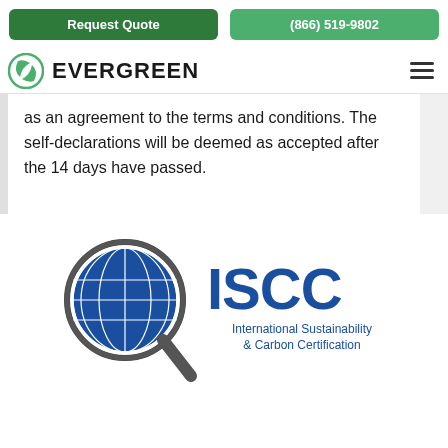Request Quote | (866) 519-9802
[Figure (logo): Evergreen company logo with green leaf/globe icon and the word EVERGREEN in bold black text, with hamburger menu icon on the right]
as an agreement to the terms and conditions. The self-declarations will be deemed as accepted after the 14 days have passed.
[Figure (logo): ISCC (International Sustainability & Carbon Certification) logo — a magnifying glass with a blue globe/grid sphere inside, next to the large blue letters ISCC and the text International Sustainability & Carbon Certification]